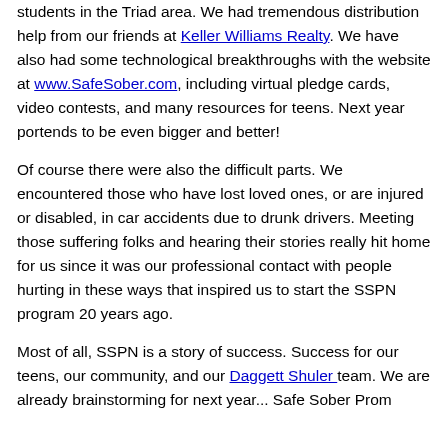students in the Triad area. We had tremendous distribution help from our friends at Keller Williams Realty. We have also had some technological breakthroughs with the website at www.SafeSober.com, including virtual pledge cards, video contests, and many resources for teens. Next year portends to be even bigger and better!
Of course there were also the difficult parts. We encountered those who have lost loved ones, or are injured or disabled, in car accidents due to drunk drivers. Meeting those suffering folks and hearing their stories really hit home for us since it was our professional contact with people hurting in these ways that inspired us to start the SSPN program 20 years ago.
Most of all, SSPN is a story of success. Success for our teens, our community, and our Daggett Shuler team. We are already brainstorming for next year... Safe Sober Prom